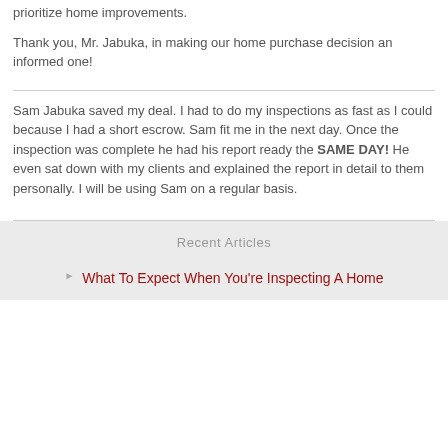prioritize home improvements.
Thank you, Mr. Jabuka, in making our home purchase decision an informed one!
Sam Jabuka saved my deal. I had to do my inspections as fast as I could because I had a short escrow. Sam fit me in the next day. Once the inspection was complete he had his report ready the SAME DAY! He even sat down with my clients and explained the report in detail to them personally. I will be using Sam on a regular basis.
Recent Articles
What To Expect When You're Inspecting A Home